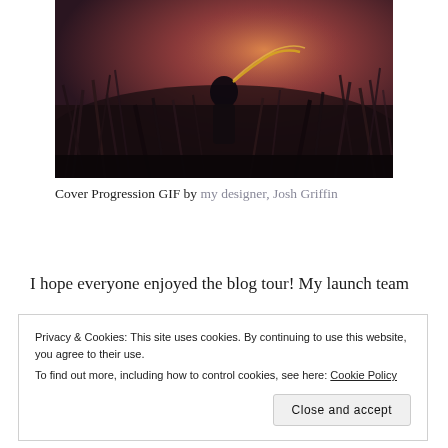[Figure (illustration): Dark fantasy illustration showing a figure standing in tall grass at dusk, with golden ribbons and a moody red-purple sky]
Cover Progression GIF by my designer, Josh Griffin
I hope everyone enjoyed the blog tour! My launch team
Privacy & Cookies: This site uses cookies. By continuing to use this website, you agree to their use.
To find out more, including how to control cookies, see here: Cookie Policy